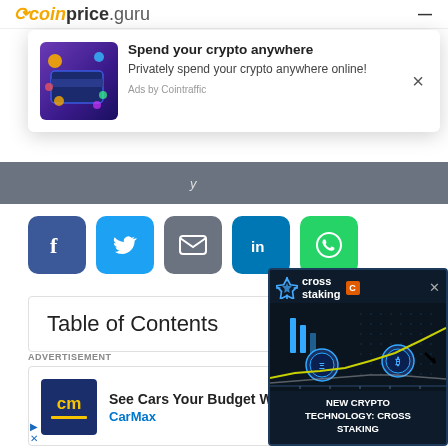coinprice.guru
[Figure (infographic): Popup advertisement: crypto card image on left with text 'Spend your crypto anywhere' and 'Privately spend your crypto anywhere online!' and 'Ads by Cointraffic' label, with X close button]
[Figure (screenshot): Gray banner strip partial view]
[Figure (infographic): Social share buttons row: Facebook (blue), Twitter (light blue), Email (gray), LinkedIn (dark blue), WhatsApp (green)]
Table of Contents
ADVERTISEMENT
[Figure (infographic): CarMax advertisement with CarMax logo (cm), text 'See Cars Your Budget Will Love' and 'CarMax', with blue arrow icon]
[Figure (infographic): Cross Staking overlay ad with dark blue background, crypto chart graphic, and text 'NEW CRYPTO TECHNOLOGY: CROSS STAKING']